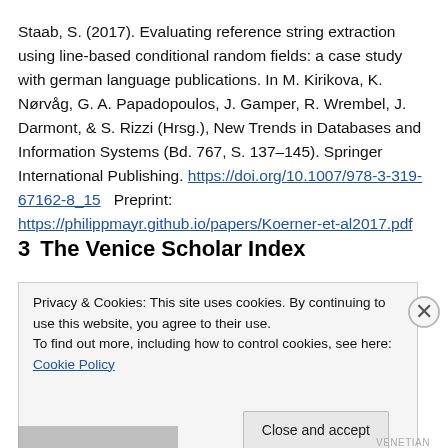Staab, S. (2017). Evaluating reference string extraction using line-based conditional random fields: a case study with german language publications. In M. Kirikova, K. Nørvåg, G. A. Papadopoulos, J. Gamper, R. Wrembel, J. Darmont, & S. Rizzi (Hrsg.), New Trends in Databases and Information Systems (Bd. 767, S. 137–145). Springer International Publishing. https://doi.org/10.1007/978-3-319-67162-8_15   Preprint: https://philippmayr.github.io/papers/Koerner-et-al2017.pdf
3   The Venice Scholar Index
[Figure (screenshot): A cookie consent banner overlay with text 'Privacy & Cookies: This site uses cookies. By continuing to use this website, you agree to their use. To find out more, including how to control cookies, see here: Cookie Policy' and a 'Close and accept' button. An X close button appears at the top right.]